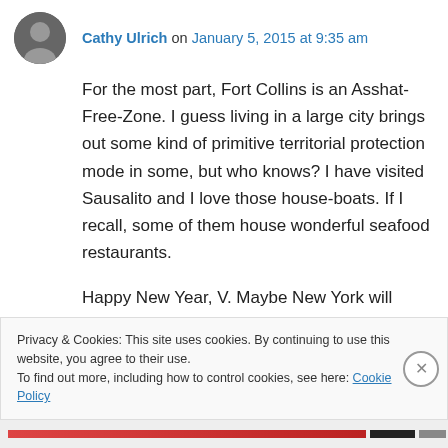Cathy Ulrich on January 5, 2015 at 9:35 am
For the most part, Fort Collins is an Asshat-Free-Zone. I guess living in a large city brings out some kind of primitive territorial protection mode in some, but who knows? I have visited Sausalito and I love those house-boats. If I recall, some of them house wonderful seafood restaurants.
Happy New Year, V. Maybe New York will
Privacy & Cookies: This site uses cookies. By continuing to use this website, you agree to their use.
To find out more, including how to control cookies, see here: Cookie Policy
Close and accept